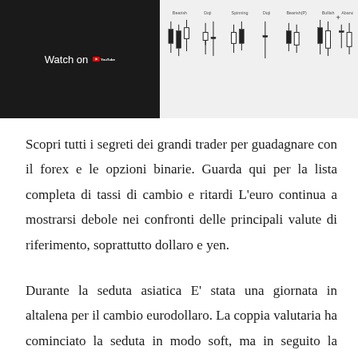[Figure (screenshot): YouTube video thumbnail showing candlestick chart patterns with 'Watch on YouTube' overlay button on the left, and various candlestick pattern examples on the right side.]
Scopri tutti i segreti dei grandi trader per guadagnare con il forex e le opzioni binarie. Guarda qui per la lista completa di tassi di cambio e ritardi L'euro continua a mostrarsi debole nei confronti delle principali valute di riferimento, soprattutto dollaro e yen.
Durante la seduta asiatica E' stata una giornata in altalena per il cambio eurodollaro. La coppia valutaria ha cominciato la seduta in modo soft, ma in seguito la liquidit salita tornando. Cambio dollaro neozelandese euro. Free conversione di